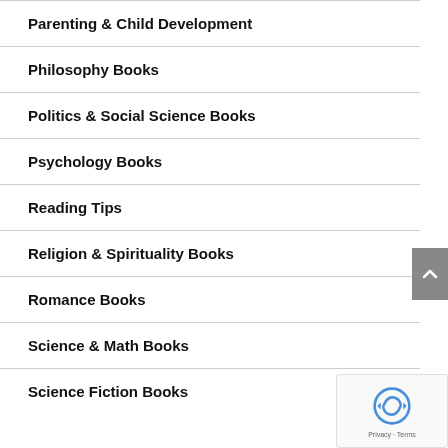Parenting & Child Development
Philosophy Books
Politics & Social Science Books
Psychology Books
Reading Tips
Religion & Spirituality Books
Romance Books
Science & Math Books
Science Fiction Books